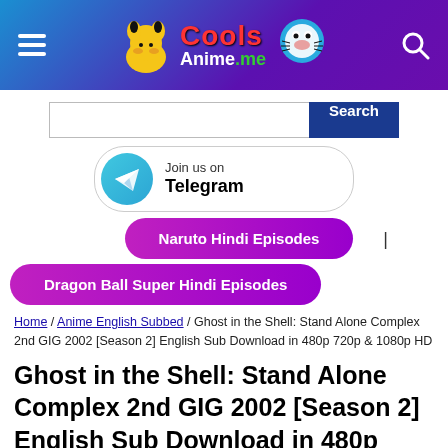CoolsAnime.me
[Figure (screenshot): Search bar with text input and blue Search button]
[Figure (infographic): Telegram join button with Telegram logo circle and text 'Join us on Telegram']
Naruto Hindi Episodes
Dragon Ball Super Hindi Episodes
Home / Anime English Subbed / Ghost in the Shell: Stand Alone Complex 2nd GIG 2002 [Season 2] English Sub Download in 480p 720p & 1080p HD
Ghost in the Shell: Stand Alone Complex 2nd GIG 2002 [Season 2] English Sub Download in 480p 720p & 1080p HD